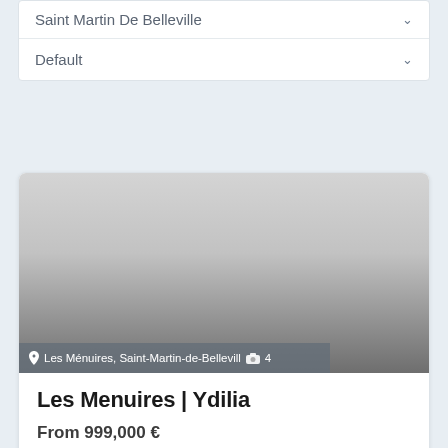Saint Martin De Belleville
Default
[Figure (photo): Property listing card image area showing a gradient placeholder image with location overlay text 'Les Ménuires, Saint-Martin-de-Belleville' and photo count '4']
Les Menuires | Ydilia
From 999,000 €
Ydilia is a brand new development of luxury apartments and chalets ideally situated in the ...